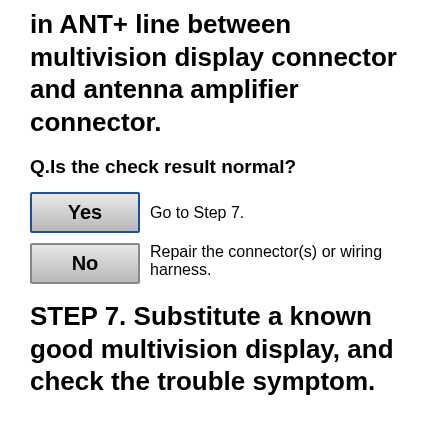in ANT+ line between multivision display connector and antenna amplifier connector.
Q.Is the check result normal?
Yes  Go to Step 7.
No  Repair the connector(s) or wiring harness.
STEP 7. Substitute a known good multivision display, and check the trouble symptom.